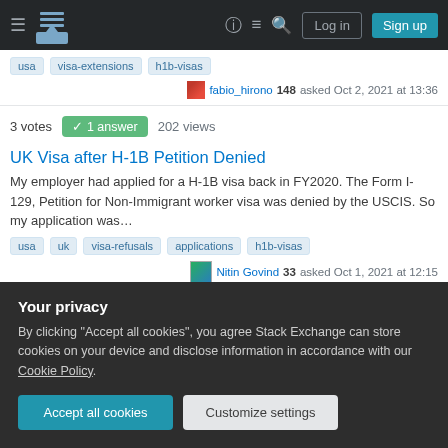Stack Exchange navigation header with hamburger menu, logo, help, chat, search, Log in, Sign up
Tags: usa, visa-extensions, h1b-visas
fabio_hirono 148 asked Oct 2, 2021 at 13:36
3 votes · 1 answer · 202 views
UK Visa after H-1B Petition Denied
My employer had applied for a H-1B visa back in FY2020. The Form I-129, Petition for Non-Immigrant worker visa was denied by the USCIS. So my application was…
Tags: usa, uk, visa-refusals, applications, h1b-visas
Nitin Govind 33 asked Oct 1, 2021 at 12:15
Your privacy
By clicking "Accept all cookies", you agree Stack Exchange can store cookies on your device and disclose information in accordance with our Cookie Policy.
Accept all cookies | Customize settings
3 votes · 2 answers · 542 views